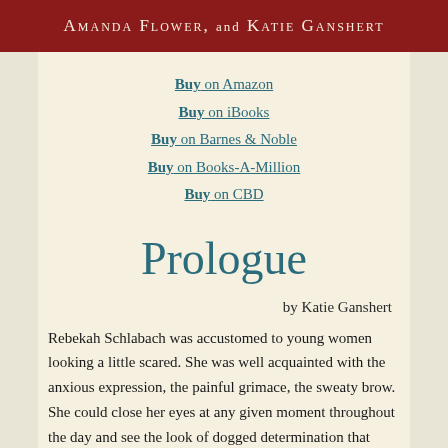Amanda Flower, and Katie Ganshert
Buy on Amazon
Buy on iBooks
Buy on Barnes & Noble
Buy on Books-A-Million
Buy on CBD
Prologue
by Katie Ganshert
Rebekah Schlabach was accustomed to young women looking a little scared. She was well acquainted with the anxious expression, the painful grimace, the sweaty brow. She could close her eyes at any given moment throughout the day and see the look of dogged determination that often crossed a woman's